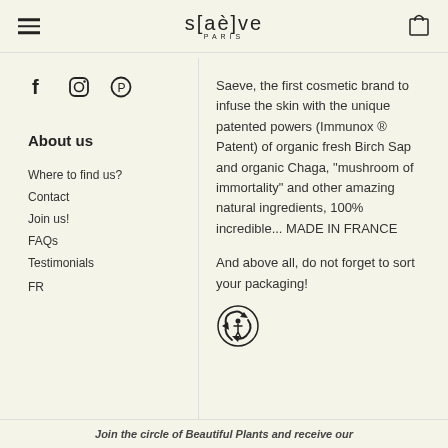s[aè]ve PARIS
[Figure (logo): Social media icons: Facebook (f), Instagram (camera), Pinterest (P)]
About us
Where to find us?
Contact
Join us!
FAQs
Testimonials
FR
Saeve, the first cosmetic brand to infuse the skin with the unique patented powers (Immunox ® Patent) of organic fresh Birch Sap and organic Chaga, "mushroom of immortality" and other amazing natural ingredients, 100% incredible... MADE IN FRANCE
And above all, do not forget to sort your packaging!
[Figure (illustration): Recycling symbol icon - circular arrows with person figure]
Join the circle of Beautiful Plants and receive our